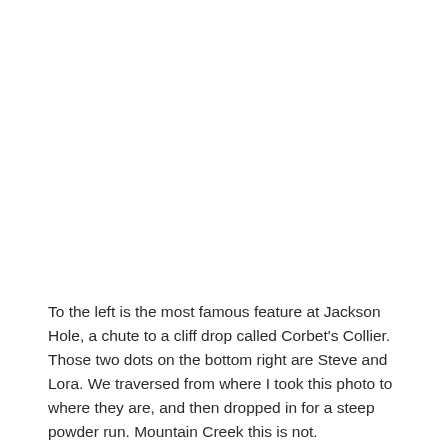To the left is the most famous feature at Jackson Hole, a chute to a cliff drop called Corbet's Collier. Those two dots on the bottom right are Steve and Lora. We traversed from where I took this photo to where they are, and then dropped in for a steep powder run. Mountain Creek this is not.